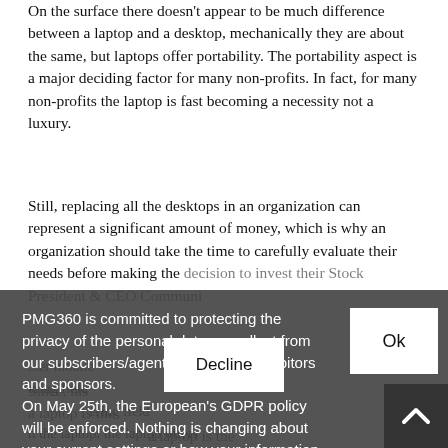On the surface there doesn't appear to be much difference between a laptop and a desktop, mechanically they are about the same, but laptops offer portability. The portability aspect is a major deciding factor for many non-profits. In fact, for many non-profits the laptop is fast becoming a necessity not a luxury.
Still, replacing all the desktops in an organization can represent a significant amount of money, which is why an organization should take the time to carefully evaluate their needs before making the decision to invest their Stock President & CEO Communi...
PMG360 is committed to protecting the privacy of the personal data we collect from our subscribers/agents/customers/exhibitors and sponsors. On May 25th, the European's GDPR policy will be enforced. Nothing is changing about your current settings or how your information is processed, however, we have made a few changes. We have updated our Privacy Policy and Cookie Policy to make it easier for you to understand what information we collect, how and why we collect it.
...Since, his a laptop is the a laptop is the mobile ering field the laptop, the laptop offers field workers greater flexibility t need to rush back to office to send an email or file ll that can be done in field with a laptop.